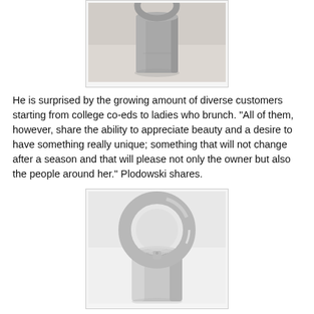[Figure (photo): Close-up photo of a silver/metallic ring or jewelry piece with a cylindrical base, sitting on a white surface. The top portion is cropped.]
He is surprised by the growing amount of diverse customers starting from college co-eds to ladies who brunch. "All of them, however, share the ability to appreciate beauty and a desire to have something really unique; something that will not change after a season and that will please not only the owner but also the people around her." Plodowski shares.
[Figure (photo): Close-up photo of a shiny silver/metallic ring with a circular band sitting atop a cylindrical base, viewed from slightly above, on a white surface.]